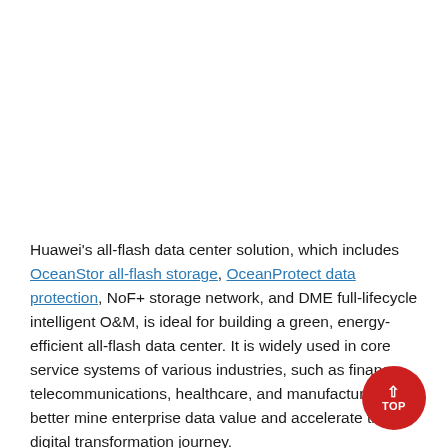Huawei's all-flash data center solution, which includes OceanStor all-flash storage, OceanProtect data protection, NoF+ storage network, and DME full-lifecycle intelligent O&M, is ideal for building a green, energy-efficient all-flash data center. It is widely used in core service systems of various industries, such as finance, telecommunications, healthcare, and manufacturing, to better mine enterprise data value and accelerate the digital transformation journey.